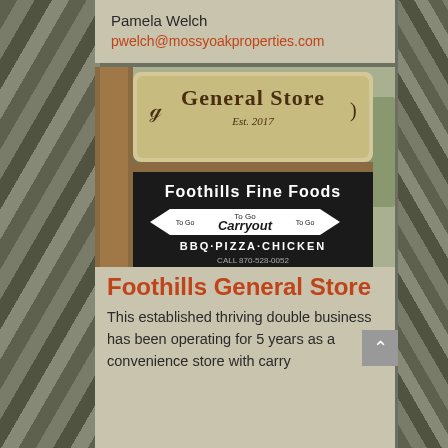Pamela Welch
pwelch@mossyoakproperties.com
[Figure (photo): Photo of a General Store sign (Est. 2017) with a Foothills Fine Foods Carryout sign showing BBQ·PIZZA·CHICKEN and a phone number 870-528-0052]
Foothills General Store
This established thriving double business has been operating for 5 years as a convenience store with carry